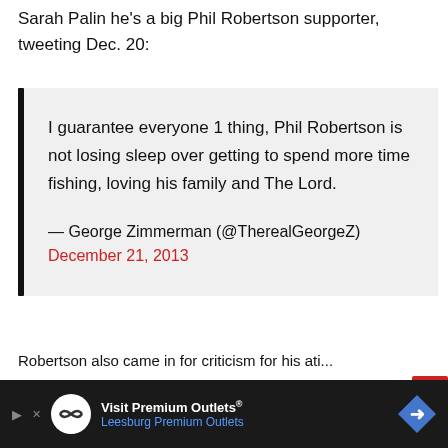Sarah Palin he's a big Phil Robertson supporter, tweeting Dec. 20:
I guarantee everyone 1 thing, Phil Robertson is not losing sleep over getting to spend more time fishing, loving his family and The Lord.
— George Zimmerman (@TherealGeorgeZ) December 21, 2013
Robertson also came in for criticism for his ati...